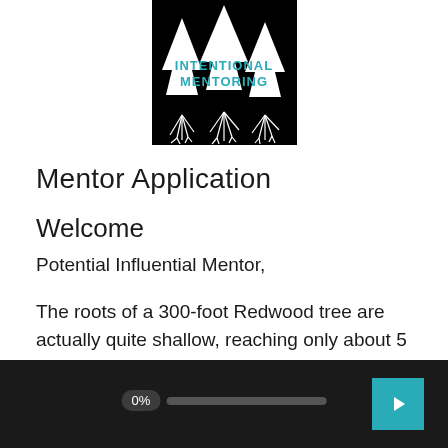[Figure (logo): Intentional Mentoring logo: black background with white silhouetted trees and roots, teal text reading INTENTIONAL MENTORING]
Mentor Application
Welcome
Potential Influential Mentor,
The roots of a 300-foot Redwood tree are actually quite shallow, reaching only about 5 feet deep. In order to grow so tall, these trees weave roots together to support each other.
0%  [progress bar]  [next button]